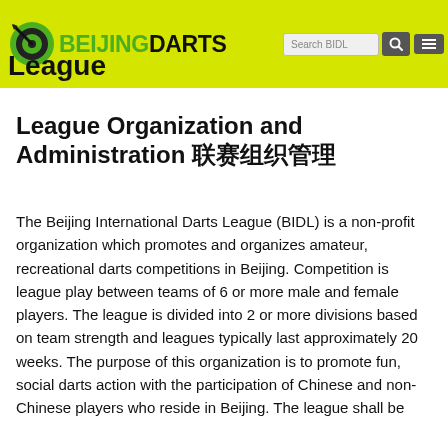Beijing Darts League
League Organization and Administration 联赛组织管理
The Beijing International Darts League (BIDL) is a non-profit organization which promotes and organizes amateur, recreational darts competitions in Beijing. Competition is league play between teams of 6 or more male and female players. The league is divided into 2 or more divisions based on team strength and leagues typically last approximately 20 weeks. The purpose of this organization is to promote fun, social darts action with the participation of Chinese and non-Chinese players who reside in Beijing. The league shall be